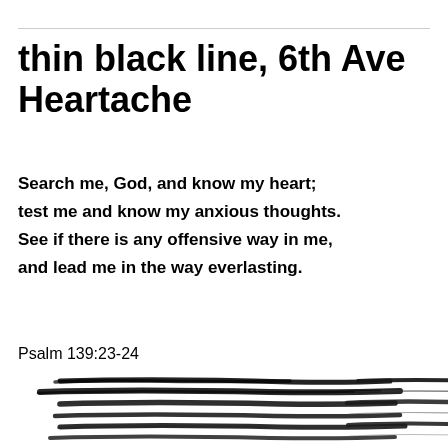thin black line, 6th Ave Heartache
Search me, God, and know my heart; test me and know my anxious thoughts. See if there is any offensive way in me, and lead me in the way everlasting.
Psalm 139:23-24
[Figure (illustration): Two groups of rough hand-drawn black brush strokes arranged in horizontal parallel lines — a left cluster of six thick, textured strokes and a right cluster of six thinner, more delicate strokes, suggesting a decorative or artistic element.]